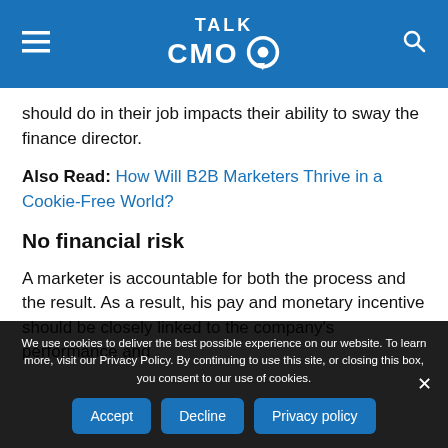TALK CMO
should do in their job impacts their ability to sway the finance director.
Also Read: How Will B2B Marketers Thrive in a Cookie-Free World?
No financial risk
A marketer is accountable for both the process and the result. As a result, his pay and monetary incentive should be closely linked to the company's performance and
We use cookies to deliver the best possible experience on our website. To learn more, visit our Privacy Policy. By continuing to use this site, or closing this box, you consent to our use of cookies.